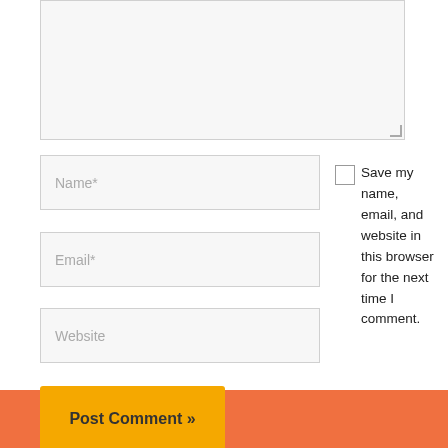[Figure (screenshot): Comment form with textarea (top), Name, Email, Website input fields, a checkbox with label 'Save my name, email, and website in this browser for the next time I comment.', and a Post Comment button.]
Name*
Email*
Website
Save my name, email, and website in this browser for the next time I comment.
Post Comment »